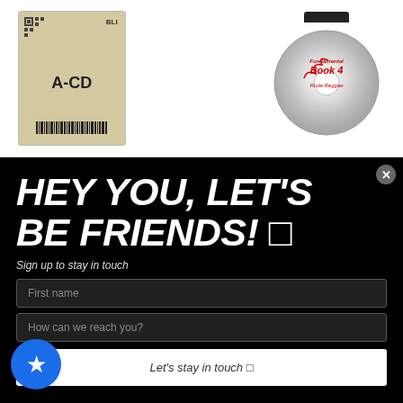[Figure (photo): Product image of a CD mailer envelope labeled 'BLI A-CD' with barcode on a light tan background]
[Figure (photo): A white CD disc with red text/logo reading 'Fundamental Book 4 Rude Reggae', clipped at top of a black wire CD holder]
HEY YOU, LET'S BE FRIENDS! 🔲
Sign up to stay in touch
First name
How can we reach you?
Let's stay in touch 🔲